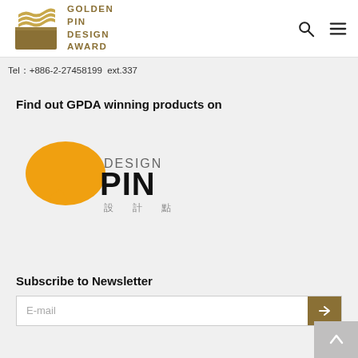[Figure (logo): Golden Pin Design Award logo with golden stylized 'G' emblem and text GOLDEN PIN DESIGN AWARD]
Tel：+886-2-27458199  ext.337
Find out GPDA winning products on
[Figure (logo): Design Pin logo with orange speech bubble and text DESIGN PIN 設計點]
Subscribe to Newsletter
E-mail